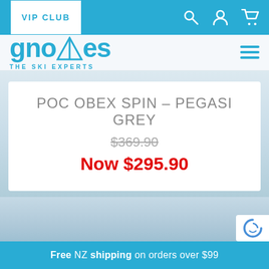VIP CLUB
[Figure (logo): Gnomes The Ski Experts logo in blue with stylized hat on the M]
POC OBEX SPIN – PEGASI GREY
$369.90 (strikethrough original price)
Now $295.90
Free NZ shipping on orders over $99